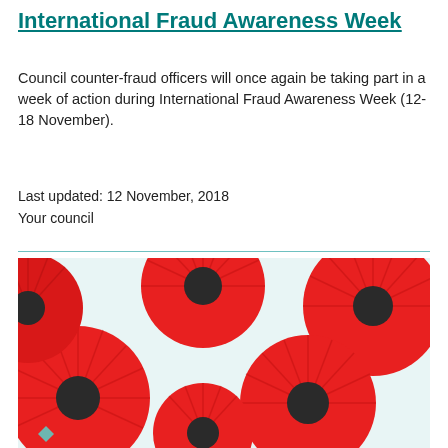International Fraud Awareness Week
Council counter-fraud officers will once again be taking part in a week of action during International Fraud Awareness Week (12-18 November).
Last updated: 12 November, 2018
Your council
[Figure (photo): Close-up photograph of red poppy decorations with dark centres and teal/green accents, arranged in a flat lay pattern.]